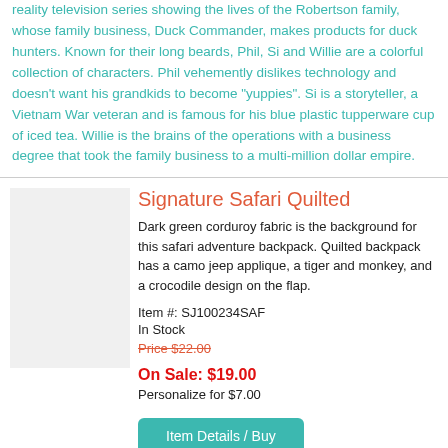reality television series showing the lives of the Robertson family, whose family business, Duck Commander, makes products for duck hunters. Known for their long beards, Phil, Si and Willie are a colorful collection of characters. Phil vehemently dislikes technology and doesn't want his grandkids to become "yuppies". Si is a storyteller, a Vietnam War veteran and is famous for his blue plastic tupperware cup of iced tea. Willie is the brains of the operations with a business degree that took the family business to a multi-million dollar empire.
Signature Safari Quilted
Dark green corduroy fabric is the background for this safari adventure backpack. Quilted backpack has a camo jeep applique, a tiger and monkey, and a crocodile design on the flap.
Item #: SJ100234SAF
In Stock
Price $22.00
On Sale: $19.00
Personalize for $7.00
Item Details / Buy